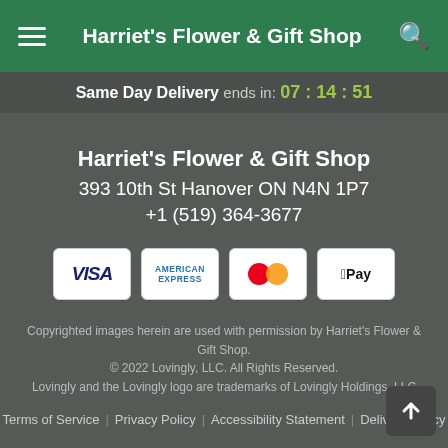Harriet's Flower & Gift Shop
Same Day Delivery ends in: 07:14:51
Harriet's Flower & Gift Shop
393 10th St Hanover ON N4N 1P7
+1 (519) 364-3677
[Figure (illustration): Payment method icons: Visa, American Express, Mastercard, Apple Pay]
Copyrighted images herein are used with permission by Harriet's Flower & Gift Shop. © 2022 Lovingly, LLC. All Rights Reserved. Lovingly and the Lovingly logo are trademarks of Lovingly Holdings, LLC
Terms of Service | Privacy Policy | Accessibility Statement | Delivery Policy